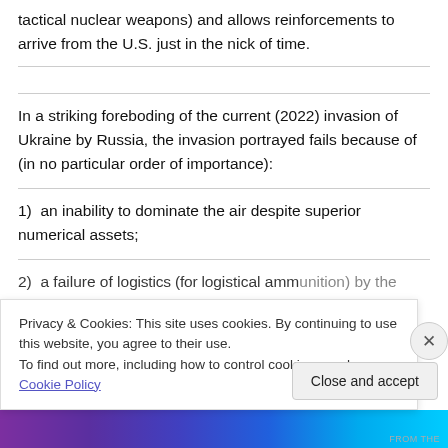tactical nuclear weapons) and allows reinforcements to arrive from the U.S. just in the nick of time.
In a striking foreboding of the current (2022) invasion of Ukraine by Russia, the invasion portrayed fails because of (in no particular order of importance):
1)  an inability to dominate the air despite superior numerical assets;
2)  a failure of logistics (for logistical ammunition) by the
Privacy & Cookies: This site uses cookies. By continuing to use this website, you agree to their use.
To find out more, including how to control cookies, see here: Cookie Policy
Close and accept